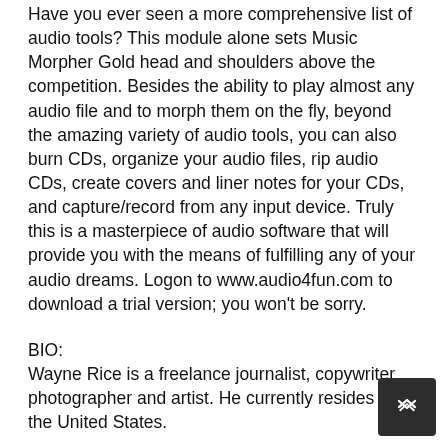Have you ever seen a more comprehensive list of audio tools? This module alone sets Music Morpher Gold head and shoulders above the competition. Besides the ability to play almost any audio file and to morph them on the fly, beyond the amazing variety of audio tools, you can also burn CDs, organize your audio files, rip audio CDs, create covers and liner notes for your CDs, and capture/record from any input device. Truly this is a masterpiece of audio software that will provide you with the means of fulfilling any of your audio dreams. Logon to www.audio4fun.com to download a trial version; you won't be sorry.
BIO:
Wayne Rice is a freelance journalist, copywriter, photographer and artist. He currently resides in the United States.